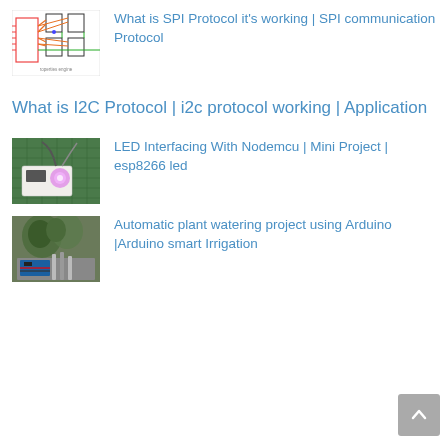[Figure (schematic): SPI protocol circuit/wiring diagram with colored connection lines]
What is SPI Protocol it's working | SPI communication Protocol
What is I2C Protocol | i2c protocol working | Application
[Figure (photo): LED interfacing with NodeMCU board showing glowing pink/purple LED on green mat]
LED Interfacing With Nodemcu | Mini Project | esp8266 led
[Figure (photo): Automatic plant watering project with Arduino components and plant]
Automatic plant watering project using Arduino |Arduino smart Irrigation